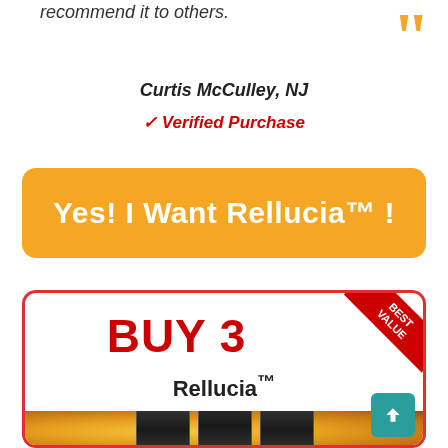recommend it to others.
Curtis McCulley, NJ
✓ Verified Purchase
Yes! I Want Rellucia™ !
[Figure (infographic): Product card with BUY 3 heading, Rellucia™ brand name, BEST VALUE ribbon in red corner, and product bottles on golden bokeh background]
BUY 3
Rellucia™